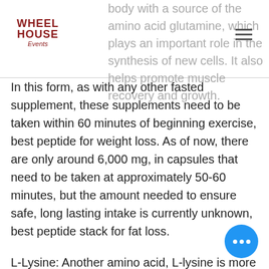Wheel House Events logo and partial header text: body with a source of the amino acid glutamine, which plays an important role in the synthesis of new cells. It also helps promote muscle recovery and growth.
In this form, as with any other fasted supplement, these supplements need to be taken within 60 minutes of beginning exercise, best peptide for weight loss. As of now, there are only around 6,000 mg, in capsules that need to be taken at approximately 50-60 minutes, but the amount needed to ensure safe, long lasting intake is currently unknown, best peptide stack for fat loss.
L-Lysine: Another amino acid, L-lysine is more commonly known as L-Tryptophan, and is used for similar purposes as L-glutamine, best injectable peptides for anti aging. L-Tryptophan is a precursor amino acid used in other products such as cr and amino acids; however, due to its lo value as a source of quality, it typically